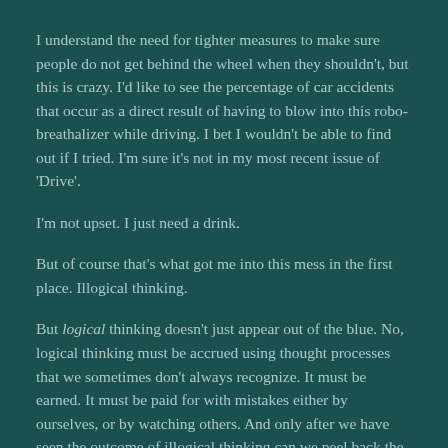I understand the need for tighter measures to make sure people do not get behind the wheel when they shouldn't, but this is crazy. I'd like to see the percentage of car accidents that occur as a direct result of having to blow into this robo-breathalizer while driving. I bet I wouldn't be able to find out if I tried. I'm sure it's not in my most recent issue of 'Drive'.
I'm not upset. I just need a drink.
But of course that's what got me into this mess in the first place. Illogical thinking.
But logical thinking doesn't just appear out of the blue. No, logical thinking must be accrued using thought processes that we sometimes don't always recognize. It must be earned. It must be paid for with mistakes either by ourselves, or by watching others. And only after we have seen the outcome of illogical thinking can we peel back the dealer's sticker and read the price it came with from the factory. Sometimes that msrp price is a lot higher than we bargained for. But we have to ante up or we must walk away.
And due to my mistakes I must pay what is asked of me by the courts. Due to my mistakes I will soon have to start seeing a probation officer and have an ignition interlock device installed in